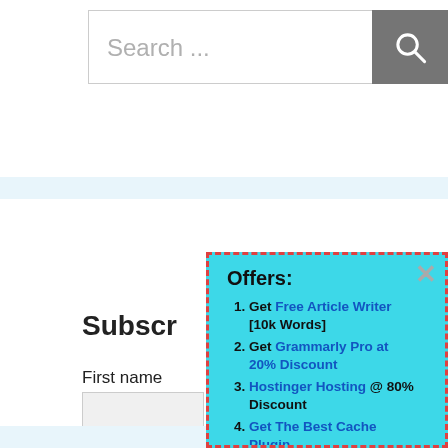[Figure (screenshot): Search bar with text placeholder 'Search ...' and a grey search button with magnifying glass icon]
Subscr
First name
Email
[Figure (screenshot): Popup/modal box with cyan background and dashed red border showing an offers list: 1. Get Free Article Writer [10k Words] 2. Get Grammarly Pro at 20% Discount 3. Hostinger Hosting @ 80% Discount 4. Get The Best Cache Plugin. Has an X close button in top right.]
1. Get Free Article Writer [10k Words]
2. Get Grammarly Pro at 20% Discount
3. Hostinger Hosting @ 80% Discount
4. Get The Best Cache Plugin